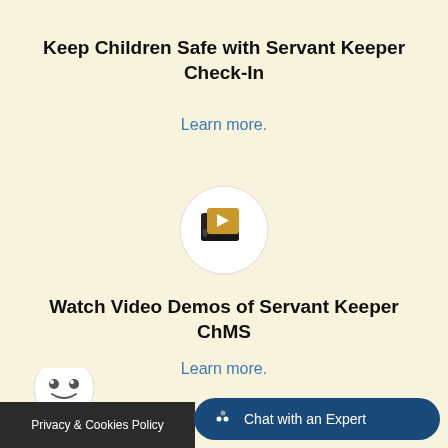Keep Children Safe with Servant Keeper Check-In
Learn more.
[Figure (illustration): Circular white icon with a golden video/play button symbol representing video content]
Watch Video Demos of Servant Keeper ChMS
Learn more.
[Figure (illustration): Partial circular icon with a cartoon face/character at bottom of page]
Privacy & Cookies Policy
Chat with an Expert